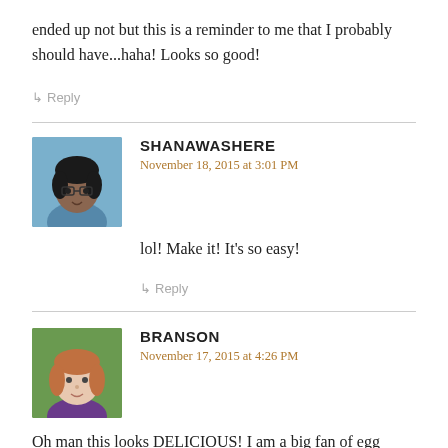ended up not but this is a reminder to me that I probably should have...haha! Looks so good!
↳ Reply
SHANAWASHERE
November 18, 2015 at 3:01 PM
lol! Make it! It's so easy!
↳ Reply
BRANSON
November 17, 2015 at 4:26 PM
Oh man this looks DELICIOUS! I am a big fan of egg dishes!